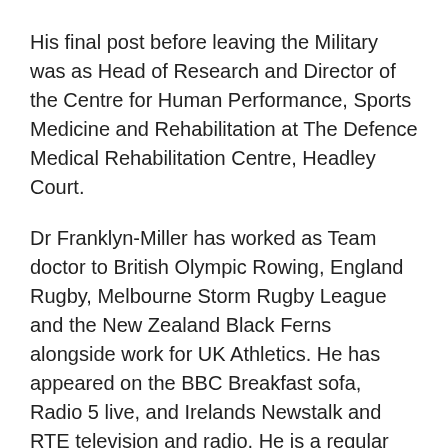His final post before leaving the Military was as Head of Research and Director of the Centre for Human Performance, Sports Medicine and Rehabilitation at The Defence Medical Rehabilitation Centre, Headley Court.
Dr Franklyn-Miller has worked as Team doctor to British Olympic Rowing, England Rugby, Melbourne Storm Rugby League and the New Zealand Black Ferns alongside work for UK Athletics. He has appeared on the BBC Breakfast sofa, Radio 5 live, and Irelands Newstalk and RTE television and radio. He is a regular media contributor on athlete preparation, injury prevention and biomechanics and a regular contributor to both his own podcast and the BJSM podcast .
In 2007, he started a research clinical Fellowship at the Centre for Health, Exercise and Sports Medicine at the University of Melbourne, this research has led to over 40 research publications on groin pain, fascial injury, injury